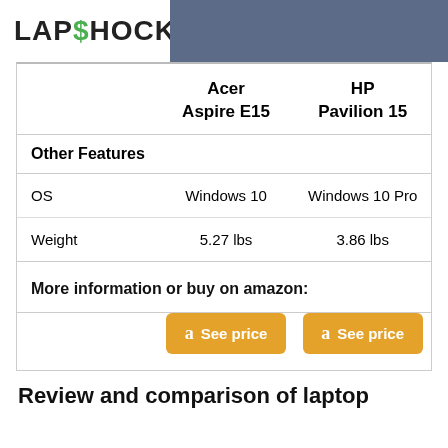[Figure (logo): LapShock logo with green dollar sign S]
|  | Acer Aspire E15 | HP Pavilion 15 |
| --- | --- | --- |
| Other Features |  |  |
| OS | Windows 10 | Windows 10 Pro |
| Weight | 5.27 lbs | 3.86 lbs |
| More information or buy on amazon: |  |  |
|  | [See price button] | [See price button] |
Review and comparison of laptop